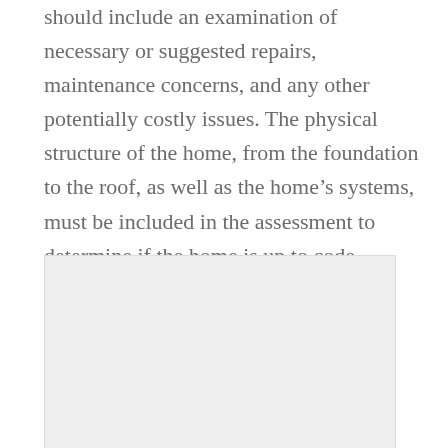should include an examination of necessary or suggested repairs, maintenance concerns, and any other potentially costly issues. The physical structure of the home, from the foundation to the roof, as well as the home's systems, must be included in the assessment to determine if the home is up to code.
[Figure (photo): A light gray rectangular image placeholder, likely a photo of a home or property.]